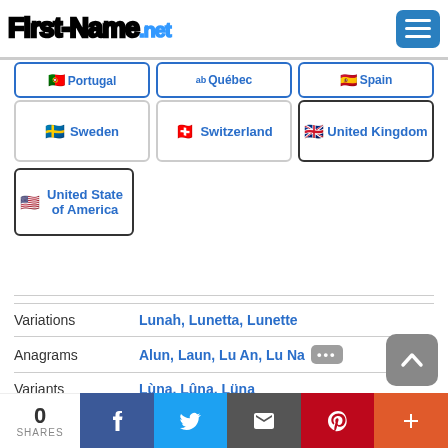First-Name.net
[Figure (screenshot): Partial row of country buttons: Portugal, Quebec, Spain (partially visible)]
Sweden
Switzerland
United Kingdom
United State of America
| Label | Value |
| --- | --- |
| Variations | Lunah, Lunetta, Lunette |
| Anagrams | Alun, Laun, Lu An, Lu Na ... |
| Variants | Lùna, Lûna, Lüna |
| Phonetically close | Lun, Lunaa, Lunae, Lunah ... |
0 SHARES | Facebook | Twitter | Email | Pinterest | Plus